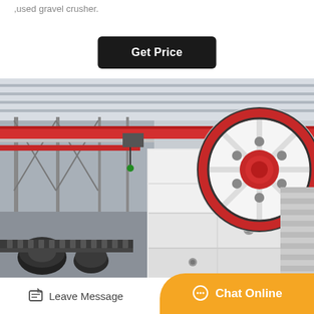,used gravel crusher.
[Figure (other): Black rounded rectangle button with white bold text 'Get Price']
[Figure (photo): Industrial factory interior showing a large jaw crusher machine with a prominent red and white flywheel on the right side. Red overhead crane beams visible in the background of the factory floor.]
[Figure (other): Footer bar with 'Leave Message' link on left and orange rounded 'Chat Online' button on right]